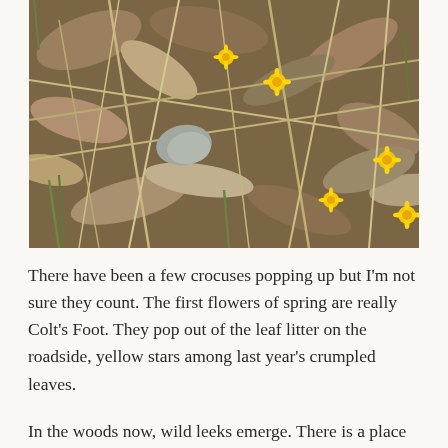[Figure (photo): Close-up photograph of leaf litter on the ground with several small bright yellow Colt's Foot flowers (resembling dandelions) scattered among dry brown leaves and dead grass stalks.]
There have been a few crocuses popping up but I'm not sure they count. The first flowers of spring are really Colt's Foot. They pop out of the leaf litter on the roadside, yellow stars among last year's crumpled leaves.
In the woods now, wild leeks emerge. There is a place nearby where I can see down and down into the trees as they slope downward to the